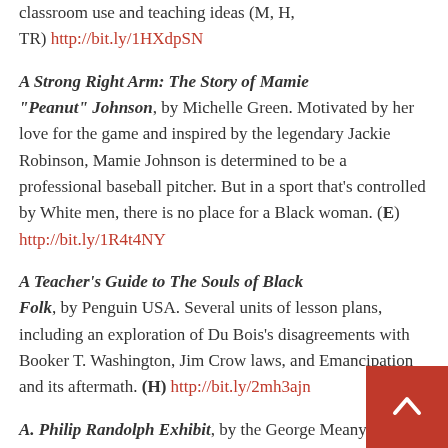classroom use and teaching ideas (M, H, TR) http://bit.ly/1HXdpSN
A Strong Right Arm: The Story of Mamie "Peanut" Johnson, by Michelle Green. Motivated by her love for the game and inspired by the legendary Jackie Robinson, Mamie Johnson is determined to be a professional baseball pitcher. But in a sport that's controlled by White men, there is no place for a Black woman. (E) http://bit.ly/1R4t4NY
A Teacher's Guide to The Souls of Black Folk, by Penguin USA. Several units of lesson plans, including an exploration of Du Bois's disagreements with Booker T. Washington, Jim Crow laws, and Emancipation and its aftermath. (H) http://bit.ly/2mh3ajn
A. Philip Randolph Exhibit, by the George Meany Memorial Archives. This online exhibit includes photographs, articles, a bibliography